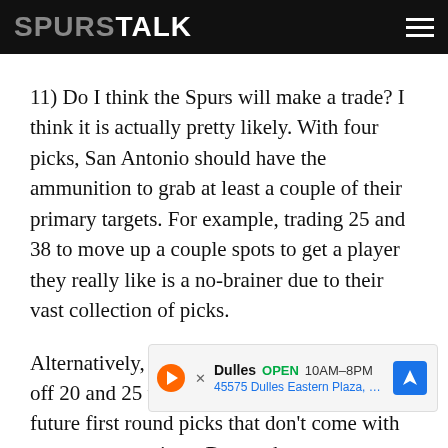SPURS TALK
11) Do I think the Spurs will make a trade? I think it is actually pretty likely. With four picks, San Antonio should have the ammunition to grab at least a couple of their primary targets. For example, trading 25 and 38 to move up a couple spots to get a player they really like is a no-brainer due to their vast collection of picks.
Alternatively, it’s a tempting plan to auction off 20 and 25 to teams willing to give up future first round picks that don’t come with onerous protections. Due to the uncom... ’s front office... 2028